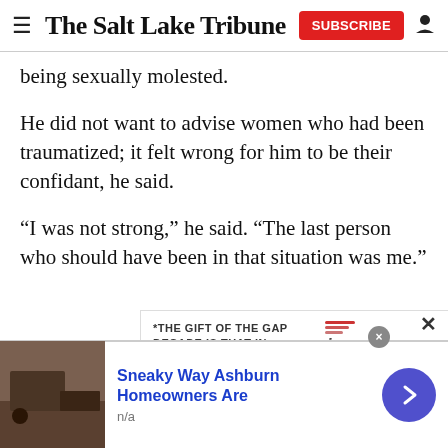The Salt Lake Tribune
being sexually molested.
He did not want to advise women who had been traumatized; it felt wrong for him to be their confidant, he said.
“I was not strong,” he said. “The last person who should have been in that situation was me.”
[Figure (other): Advertisement block with text: *THE GIFT OF THE GAP DECADE IS THAT IN READING IT, WE FIND WE and IVP logo with red wavy lines]
[Figure (other): Bottom advertisement: image of roofing work, text 'Sneaky Way Ashburn Homeowners Are', 'n/a', with purple circular arrow button]